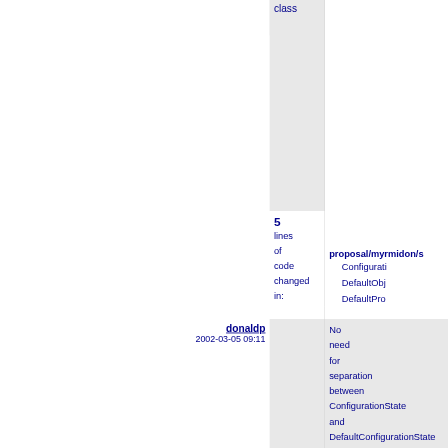class
5
lines
of
code
changed
in:
proposal/myrmidon/s
Configurati
DefaultObj
DefaultPro
donaldp
2002-03-05 09:11
No
need
for
separation
between
ConfigurationState
and
DefaultConfigurationState
at
this
stage
so
push